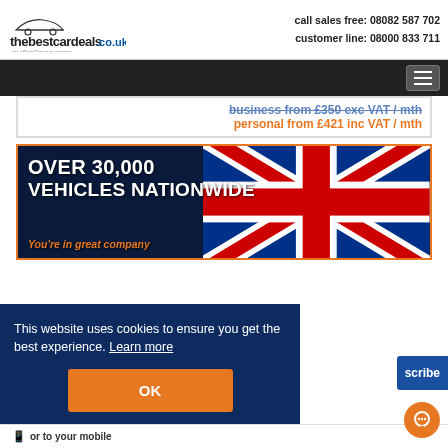[Figure (logo): thebestcardeals.co.uk logo with car silhouette and 'an eStar Group company' tagline]
call sales free: 08082 587 702
customer line: 08000 833 711
[Figure (screenshot): Navigation bar with hamburger menu button on dark background]
business from £350 exc VAT / mth
personal from £421 inc VAT / mth
[Figure (photo): Banner showing OVER 30,000 VEHICLES NATIONWIDE text over dark background with UK Union Jack flag. Text: You're in great company]
This website uses cookies to ensure you get the best experience. Learn more
OK
scribe
or to your mobile